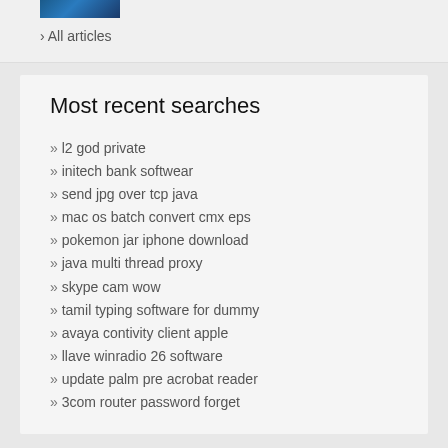[Figure (photo): Small blue-toned image thumbnail at top]
› All articles
Most recent searches
» l2 god private
» initech bank softwear
» send jpg over tcp java
» mac os batch convert cmx eps
» pokemon jar iphone download
» java multi thread proxy
» skype cam wow
» tamil typing software for dummy
» avaya contivity client apple
» llave winradio 26 software
» update palm pre acrobat reader
» 3com router password forget